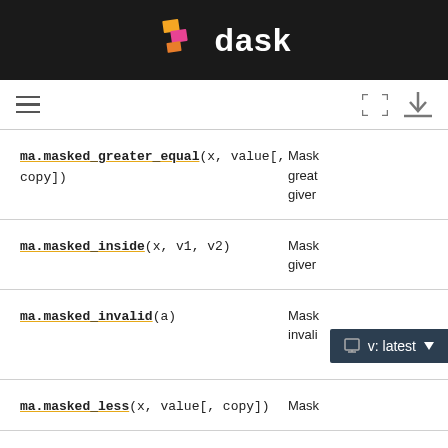dask
| Function | Description |
| --- | --- |
| ma.masked_greater_equal(x, value[, copy]) | Mask an array where greater than or equal to a given value. |
| ma.masked_inside(x, v1, v2) | Mask an array inside a given interval. |
| ma.masked_invalid(a) | Mask an array where invalid values occur (NaNs or infs). |
| ma.masked_less(x, value[, copy]) | Mask... |